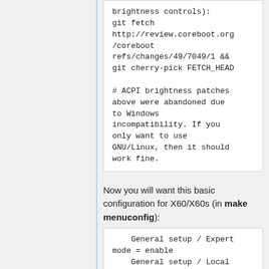brightness controls):
git fetch http://review.coreboot.org/coreboot refs/changes/49/7049/1 && git cherry-pick FETCH_HEAD

# ACPI brightness patches above were abandoned due to Windows incompatibility. If you only want to use GNU/Linux, then it should work fine.
Now you will want this basic configuration for X60/X60s (in make menuconfig):
General setup / Expert mode = enable
    General setup / Local version string = 7BETC7WW